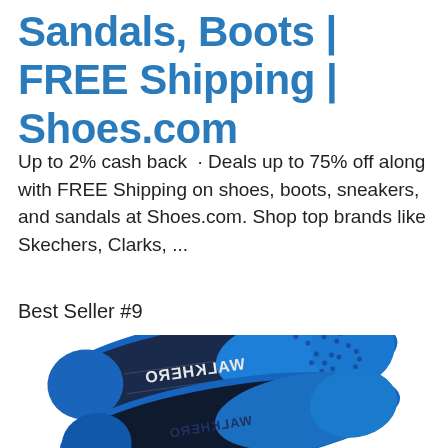Sandals, Boots | FREE Shipping | Shoes.com
Up to 2% cash back · Deals up to 75% off along with FREE Shipping on shoes, boots, sneakers, and sandals at Shoes.com. Shop top brands like Skechers, Clarks, ...
Best Seller #9
[Figure (photo): Two WALKHERO shoe insoles (insoles/orthotics), blue and navy, shown from above at an angle against a white background.]